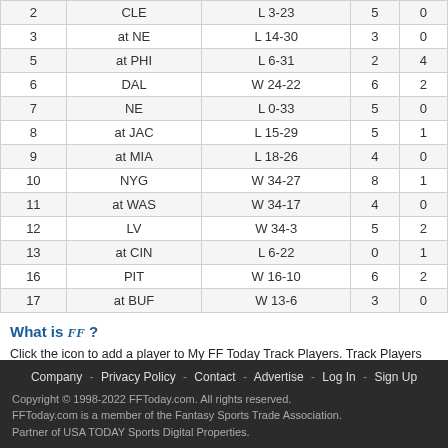| Wk | Opp | Result | Rec | TD |
| --- | --- | --- | --- | --- |
| 2 | CLE | L 3-23 | 5 | 0 |
| 3 | at NE | L 14-30 | 3 | 0 |
| 5 | at PHI | L 6-31 | 2 | 4 |
| 6 | DAL | W 24-22 | 6 | 2 |
| 7 | NE | L 0-33 | 5 | 0 |
| 8 | at JAC | L 15-29 | 5 | 1 |
| 9 | at MIA | L 18-26 | 4 | 0 |
| 10 | NYG | W 34-27 | 8 | 1 |
| 11 | at WAS | W 34-17 | 4 | 0 |
| 12 | LV | W 34-3 | 5 | 2 |
| 13 | at CIN | L 6-22 | 0 | 1 |
| 16 | PIT | W 16-10 | 6 | 2 |
| 17 | at BUF | W 13-6 | 3 | 0 |
What is FF? Click the icon to add a player to My FF Today Track Players. Track Players allows you, including your own custom news page and highlighting your players on stat, use My FF Today.
Company - Privacy Policy - Contact - Advertise - Log In - Sign Up
Copyright © 1998-2022 FFToday.com. All rights reserved.
FFToday.com is a member of the Fantasy Sports Trade Association.
Partner of USA TODAY Sports Digital Properties.